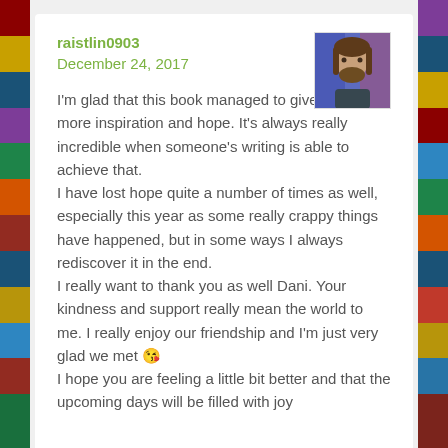raistlin0903
December 24, 2017
[Figure (photo): Avatar photo of a bearded man with long hair, colorful background]
I'm glad that this book managed to give you some more inspiration and hope. It's always really incredible when someone's writing is able to achieve that.
I have lost hope quite a number of times as well, especially this year as some really crappy things have happened, but in some ways I always rediscover it in the end.
I really want to thank you as well Dani. Your kindness and support really mean the world to me. I really enjoy our friendship and I'm just very glad we met 😘
I hope you are feeling a little bit better and that the upcoming days will be filled with joy